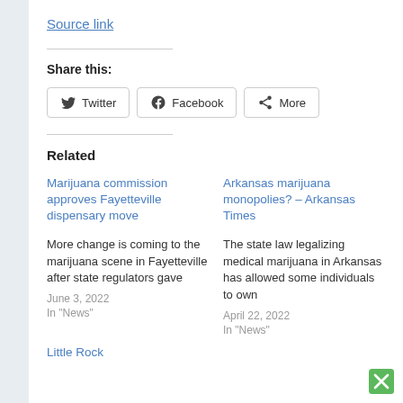Source link
Share this:
Twitter  Facebook  More
Related
Marijuana commission approves Fayetteville dispensary move
More change is coming to the marijuana scene in Fayetteville after state regulators gave
June 3, 2022
In "News"
Arkansas marijuana monopolies? – Arkansas Times
The state law legalizing medical marijuana in Arkansas has allowed some individuals to own
April 22, 2022
In "News"
Little Rock